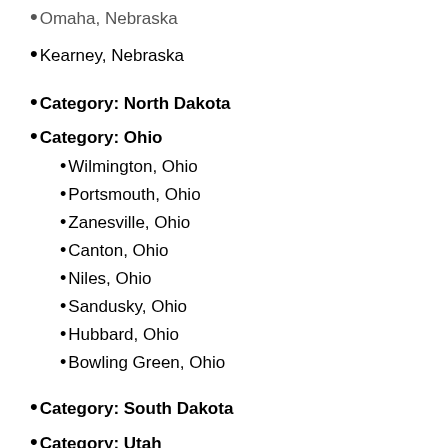Omaha, Nebraska
Kearney, Nebraska
Category: North Dakota
Category: Ohio
Wilmington, Ohio
Portsmouth, Ohio
Zanesville, Ohio
Canton, Ohio
Niles, Ohio
Sandusky, Ohio
Hubbard, Ohio
Bowling Green, Ohio
Category: South Dakota
Category: Utah
Category: Wisconsin
Grand Rapids, Wisconsin